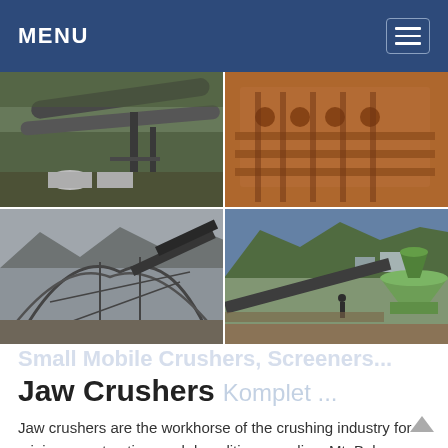MENU
[Figure (photo): Grid of four industrial mining/crushing facility photos: top-left shows conveyor belt pipeline structure; top-right shows orange-colored crusher jaw mechanism close-up; bottom-left shows large industrial structure with steel framework and conveyor belts at construction site; bottom-right shows cone crusher machine at mining site with mountains in background.]
Small Mobile Crushers, Screeners...
Jaw Crushers Komplet ...
Jaw crushers are the workhorse of the crushing industry for mining, construction, and demolition recycling. Mt. Baker Mining and Metals" jaw crushers are industrial